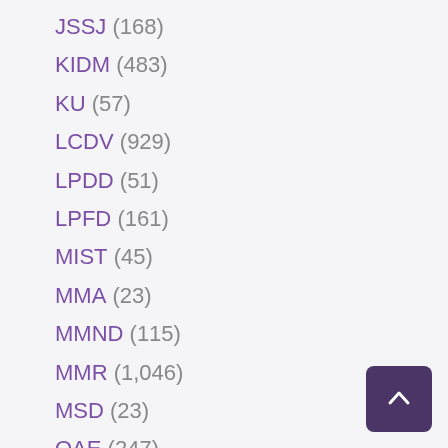JSSJ (168)
KIDM (483)
KU (57)
LCDV (929)
LPDD (51)
LPFD (161)
MIST (45)
MMA (23)
MMND (115)
MMR (1,046)
MSD (23)
OAE (247)
OHP (17)
OME (237)
OMGZ (64)